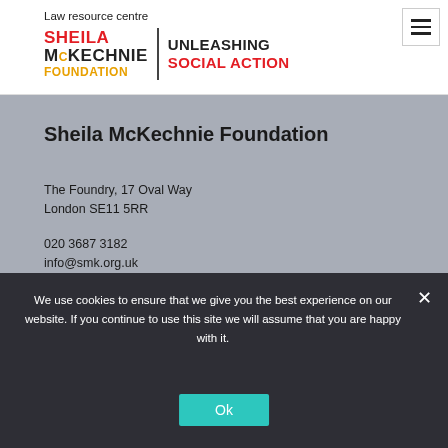Law resource centre
[Figure (logo): Sheila McKechnie Foundation logo with text UNLEASHING SOCIAL ACTION]
Sheila McKechnie Foundation
The Foundry, 17 Oval Way
London SE11 5RR
020 3687 3182
info@smk.org.uk
England and Wales Charity No. 1108210
Scotland Charity No. SC044207
We use cookies to ensure that we give you the best experience on our website. If you continue to use this site we will assume that you are happy with it.